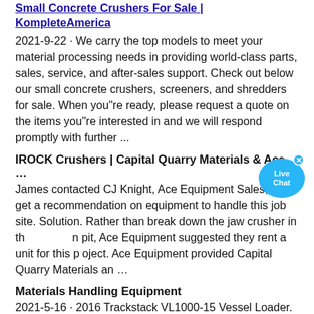Small Concrete Crushers For Sale | KompleteAmerica
2021-9-22 · We carry the top models to meet your material processing needs in providing world-class parts, sales, service, and after-sales support. Check out below our small concrete crushers, screeners, and shredders for sale. When you"re ready, please request a quote on the items you"re interested in and we will respond promptly with further ...
IROCK Crushers | Capital Quarry Materials & Ace …
James contacted CJ Knight, Ace Equipment Sales, to get a recommendation on equipment to handle this job site. Solution. Rather than break down the jaw crusher in the pit, Ace Equipment suggested they rent a unit for this project. Ace Equipment provided Capital Quarry Materials an …
Materials Handling Equipment
2021-5-16 · 2016 Trackstack VL1000-15 Vessel Loader. Materials Handling Equipment for Sale. View Specification. Trackstack VL1000 9.5 Vessel Loader. Materials Handling Equipment for Sale. View Specification. Trackstack 44×12 Heavy Duty Feeder. Materials Handling Equipment for …
Small Jaw Crusher For Sale
Introduction. Small jaw crusher for sale is mainly used for the medium-size crushing of various ores and bulk materials. It can crush materials with a compressive strength of not more than 320Mpa, and there are two types crushing methods: coarse crushing and fine crushing. This series of small jaw...